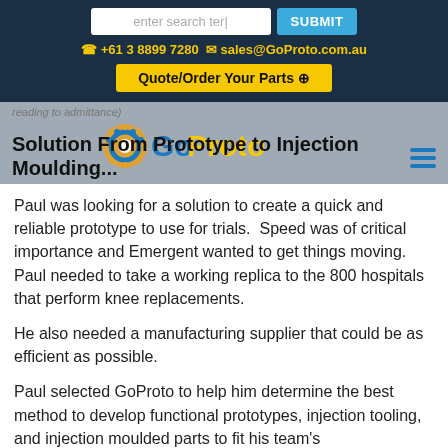enter search term  SUBMIT  +61 3 8899 7280  sales@GoProto.com.au  Quote/Order Your Parts
reading to admittance)
[Figure (logo): GoProto logo with gear icon and colorful text]
Solution From Prototype to Injection Moulding...
Paul was looking for a solution to create a quick and reliable prototype to use for trials.  Speed was of critical importance and Emergent wanted to get things moving.  Paul needed to take a working replica to the 800 hospitals that perform knee replacements.
He also needed a manufacturing supplier that could be as efficient as possible.
Paul selected GoProto to help him determine the best method to develop functional prototypes, injection tooling, and injection moulded parts to fit his team's